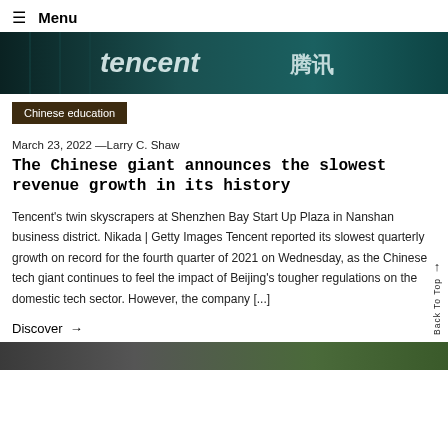≡ Menu
[Figure (photo): Tencent building signage with teal/dark tones showing 'Tencent' in English and Chinese characters]
Chinese education
March 23, 2022 —Larry C. Shaw
The Chinese giant announces the slowest revenue growth in its history
Tencent's twin skyscrapers at Shenzhen Bay Start Up Plaza in Nanshan business district. Nikada | Getty Images Tencent reported its slowest quarterly growth on record for the fourth quarter of 2021 on Wednesday, as the Chinese tech giant continues to feel the impact of Beijing's tougher regulations on the domestic tech sector. However, the company [...]
Discover →
[Figure (photo): Partial bottom image, dark tones]